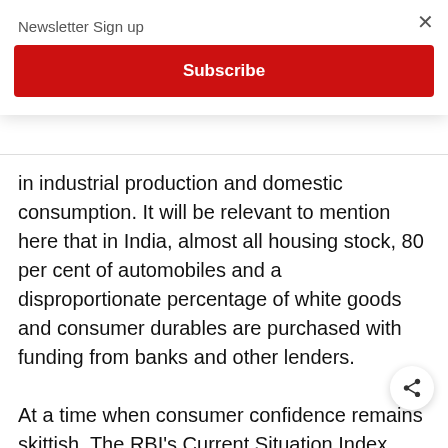Newsletter Sign up
Subscribe
in industrial production and domestic consumption. It will be relevant to mention here that in India, almost all housing stock, 80 per cent of automobiles and a disproportionate percentage of white goods and consumer durables are purchased with funding from banks and other lenders.
At a time when consumer confidence remains skittish. The RBI’s Current Situation Index (CSI) and the Future Expectation Index (FEI) fell to their respective all-time lows of 48.5 and 96.4 in the latest figures released on Fore...